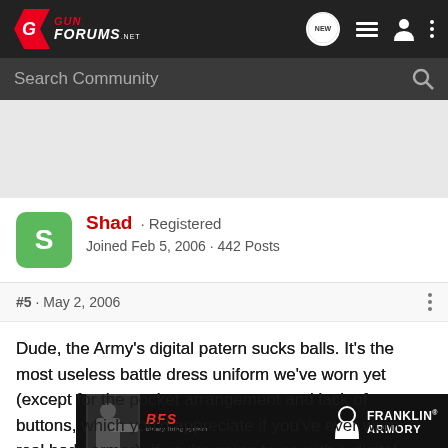[Figure (screenshot): GunForums.net logo on dark navigation bar with NEW, list, person, and dots icons]
Search Community
[Figure (screenshot): Gray spacer / advertisement region]
Shad · Registered
Joined Feb 5, 2006 · 442 Posts
#5 · May 2, 2006
Dude, the Army's digital patern sucks balls. It's the most useless battle dress uniform we've worn yet (except for the pocket arrangement and lack of buttons, which you'd appreciate if you've ever worn real body armor). If you're going to go with a digital p[attern, go with the Marines'. Those t[roop...about
[Figure (screenshot): Franklin Armory advertisement overlay with BFS logo and tactical shooter photo]